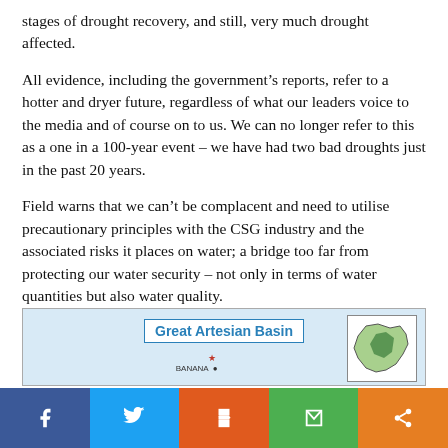stages of drought recovery, and still, very much drought affected.
All evidence, including the government’s reports, refer to a hotter and dryer future, regardless of what our leaders voice to the media and of course on to us. We can no longer refer to this as a one in a 100-year event – we have had two bad droughts just in the past 20 years.
Field warns that we can’t be complacent and need to utilise precautionary principles with the CSG industry and the associated risks it places on water; a bridge too far from protecting our water security – not only in terms of water quantities but also water quality.
[Figure (map): Map of the Great Artesian Basin with a label box, a small inset map of Australia showing the basin location highlighted in green, and a location marker near Banana QLD.]